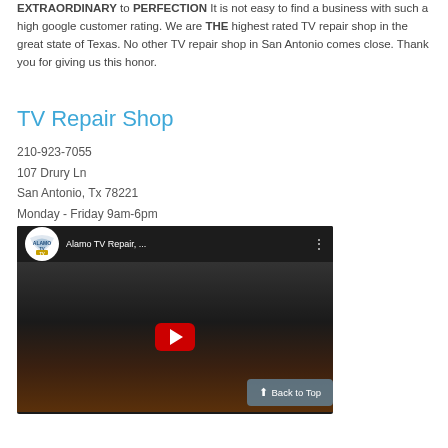EXTRAORDINARY to PERFECTION It is not easy to find a business with such a high google customer rating. We are THE highest rated TV repair shop in the great state of Texas. No other TV repair shop in San Antonio comes close. Thank you for giving us this honor.
TV Repair Shop
210-923-7055
107 Drury Ln
San Antonio, Tx 78221
Monday - Friday 9am-6pm
[Figure (screenshot): Embedded YouTube video thumbnail showing Alamo TV Repair with the channel logo (Alamo TV circular logo), video title 'Alamo TV Repair, ...' and a play button over a dark background scene. A 'Back to Top' button overlaps the bottom-right.]